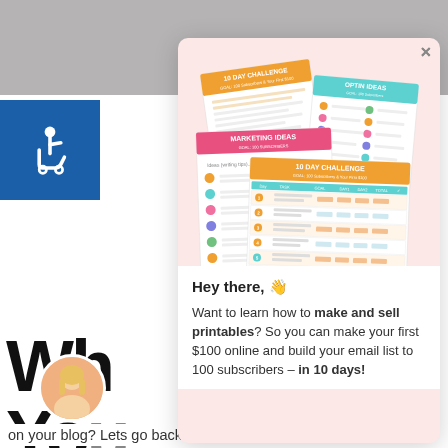[Figure (screenshot): A modal popup over a website page. The modal has a pink/salmon background at the top with a stack of colorful printable worksheets shown (10 Day Challenge, Optin Ideas, Marketing Ideas cards). Below is white background with greeting text and body copy. The background page shows partial large bold text 'Wh' and 'You' and 'I get t', 'What', 'great', 'on your blog? Lets go back to the'.]
Hey there, 👋
Want to learn how to make and sell printables? So you can make your first $100 online and build your email list to 100 subscribers – in 10 days!